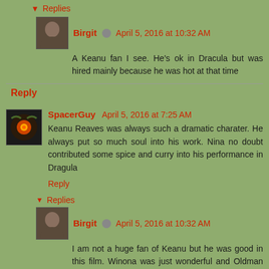Replies
Birgit  April 5, 2016 at 10:32 AM
A Keanu fan I see. He's ok in Dracula but was hired mainly because he was hot at that time
Reply
SpacerGuy  April 5, 2016 at 7:25 AM
Keanu Reaves was always such a dramatic charater. He always put so much soul into his work. Nina no doubt contributed some spice and curry into his performance in Dragula
Reply
Replies
Birgit  April 5, 2016 at 10:32 AM
I am not a huge fan of Keanu but he was good in this film. Winona was just wonderful and Oldman was brilliant.